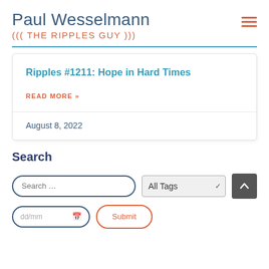Paul Wesselmann
((( THE RIPPLES GUY )))
Ripples #1211: Hope in Hard Times
READ MORE »
August 8, 2022
Search